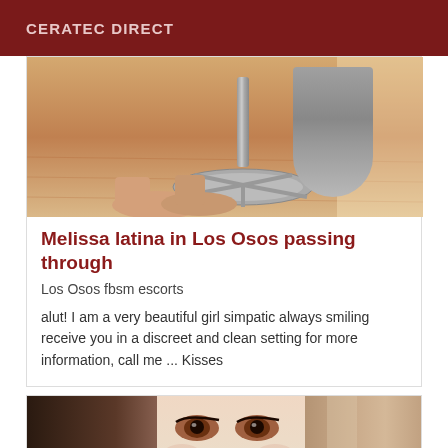CERATEC DIRECT
[Figure (photo): Photo showing feet near a chrome salon chair base on a wooden floor]
Melissa latina in Los Osos passing through
Los Osos fbsm escorts
alut! I am a very beautiful girl simpatic always smiling receive you in a discreet and clean setting for more information, call me ... Kisses
[Figure (photo): Close-up photo of a woman's face showing eyes and nose with dark hair]